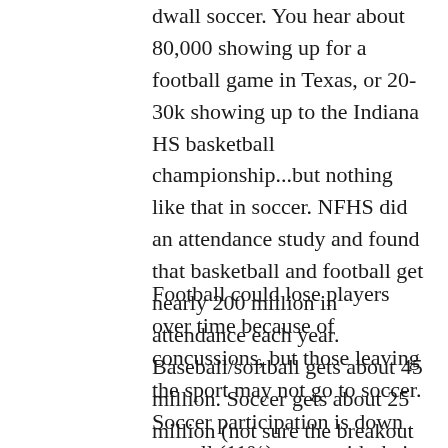dwall soccer. You hear about 80,000 showing up for a football game in Texas, or 20-30k showing up to the Indiana HS basketball championship...but nothing like that in soccer. NFHS did an attendance study and found that basketball and football get nearly 200 million in attendance each year. Baseball/softball gets about 45 million. Soccer gets about 25 million (not sure the breakout between boys and girls).
Football could lose players over time because of concussions, but those leaving the sport may not go to soccer. Soccer participation is down overall (11%), even with their nearly 73% drop off at age 13